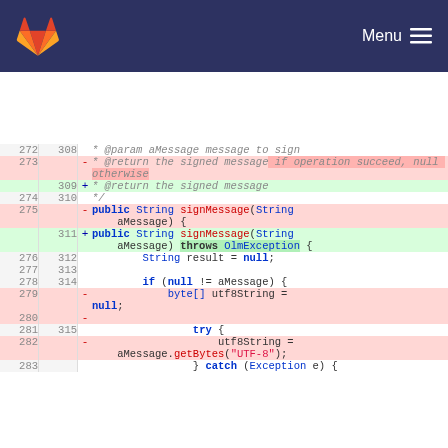[Figure (screenshot): GitLab navigation header with logo and Menu button on dark navy background]
Code diff view showing changes to signMessage method in Java, lines 272-283/308-315
272 308   * @param aMessage message to sign
273  - * @return the signed message if operation succeed, null otherwise (removed)
309  + * @return the signed message (added)
274 310   */
275  - public String signMessage(String aMessage) { (removed)
311  + public String signMessage(String aMessage) throws OlmException { (added)
276 312       String result = null;
277 313
278 314       if (null != aMessage) {
279  - byte[] utf8String = null; (removed)
280  - (removed blank)
281 315       try {
282  - utf8String = aMessage.getBytes("UTF-8"); (removed)
283  } catch (Exception e) {